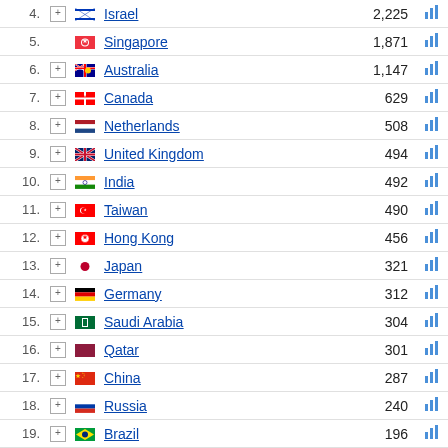| Rank |  | Flag | Country | Value | Chart |
| --- | --- | --- | --- | --- | --- |
| 4. | + | Israel | Israel | 2,225 | chart |
| 5. |  | Singapore | Singapore | 1,871 | chart |
| 6. | + | Australia | Australia | 1,147 | chart |
| 7. | + | Canada | Canada | 629 | chart |
| 8. | + | Netherlands | Netherlands | 508 | chart |
| 9. | + | United Kingdom | United Kingdom | 494 | chart |
| 10. | + | India | India | 492 | chart |
| 11. | + | Taiwan | Taiwan | 490 | chart |
| 12. | + | Hong Kong | Hong Kong | 456 | chart |
| 13. | + | Japan | Japan | 321 | chart |
| 14. | + | Germany | Germany | 312 | chart |
| 15. | + | Saudi Arabia | Saudi Arabia | 304 | chart |
| 16. | + | Qatar | Qatar | 301 | chart |
| 17. | + | China | China | 287 | chart |
| 18. | + | Russia | Russia | 240 | chart |
| 19. | + | Brazil | Brazil | 196 | chart |
| 20. | + | Norway | Norway | 155 | chart |
| 21. | + | United Arab Emirates | United Arab Emirates | 123 | chart |
| 22. | + | South Africa | South Africa | 111 | chart |
| 23. | + | South Korea | South Korea | 103 | chart |
| 24. | + | France | France | 98 | chart |